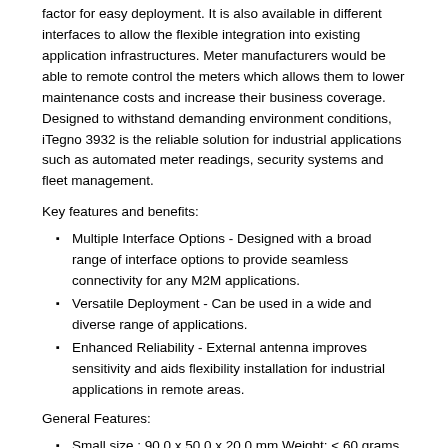factor for easy deployment. It is also available in different interfaces to allow the flexible integration into existing application infrastructures. Meter manufacturers would be able to remote control the meters which allows them to lower maintenance costs and increase their business coverage. Designed to withstand demanding environment conditions, iTegno 3932 is the reliable solution for industrial applications such as automated meter readings, security systems and fleet management.
Key features and benefits:
Multiple Interface Options - Designed with a broad range of interface options to provide seamless connectivity for any M2M applications.
Versatile Deployment - Can be used in a wide and diverse range of applications.
Enhanced Reliability - External antenna improves sensitivity and aids flexibility installation for industrial applications in remote areas.
General Features:
Small size : 90.0 x 50.0 x 20.0 mm Weight: < 60 grams
Quad-band (GSM850 / EGSM900 / DCS1800 / PCS1900)
Stable and high data transmission speeds of up to 85.6 kbps
Designed to withstand demanding environment conditions
Software